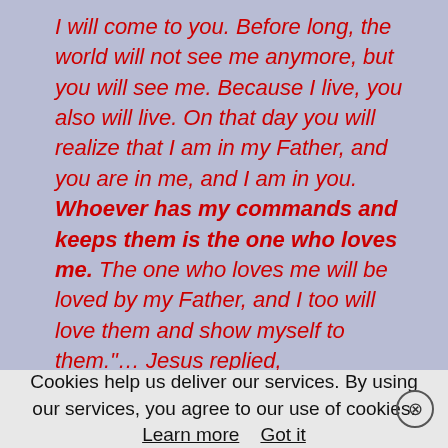I will come to you. Before long, the world will not see me anymore, but you will see me. Because I live, you also will live. On that day you will realize that I am in my Father, and you are in me, and I am in you. Whoever has my commands and keeps them is the one who loves me. The one who loves me will be loved by my Father, and I too will love them and show myself to them."... Jesus replied,
Cookies help us deliver our services. By using our services, you agree to our use of cookies. Learn more  Got it